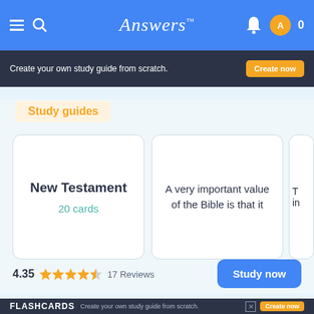Answers
[Figure (screenshot): Ad banner: Create your own study guide from scratch. Create now button.]
Study guides
[Figure (screenshot): Flashcard: New Testament, 20 cards]
[Figure (screenshot): Flashcard: A very important value of the Bible is that it]
[Figure (screenshot): Partially visible flashcard]
4.35  17 Reviews
[Figure (screenshot): Study now button]
[Figure (screenshot): Bottom ad: FLASHCARDS - Create your own study guide from scratch. Create now button.]